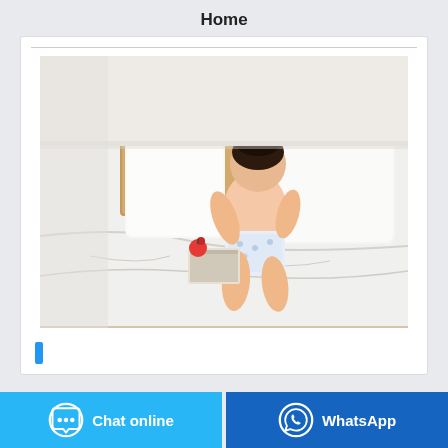Home
[Figure (photo): A baby in a diaper crawling on a large white bed with pillows and a wooden headboard, viewed from behind. A small toy and book are on the bed.]
[Figure (other): Small blue rectangle indicator dot]
Chat online
WhatsApp